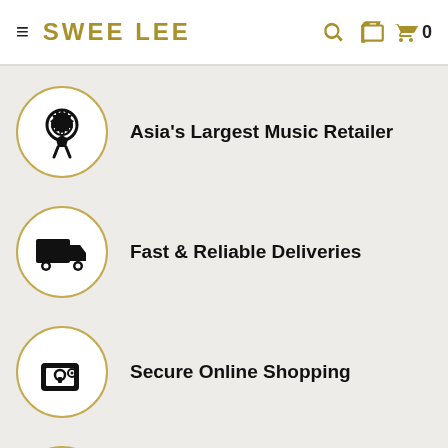SWEE LEE
Asia's Largest Music Retailer
Fast & Reliable Deliveries
Secure Online Shopping
Tax Included
Social icons: Facebook, Twitter, Instagram, YouTube; scroll-to-top button; chat button